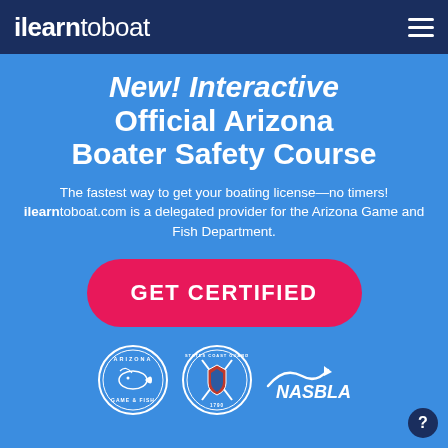ilearn to boat
New! Interactive Official Arizona Boater Safety Course
The fastest way to get your boating license—no timers! ilearntoboat.com is a delegated provider for the Arizona Game and Fish Department.
GET CERTIFIED
[Figure (logo): Arizona Game and Fish Department circular badge logo]
[Figure (logo): United States Coast Guard circular emblem logo]
[Figure (logo): NASBLA logo]